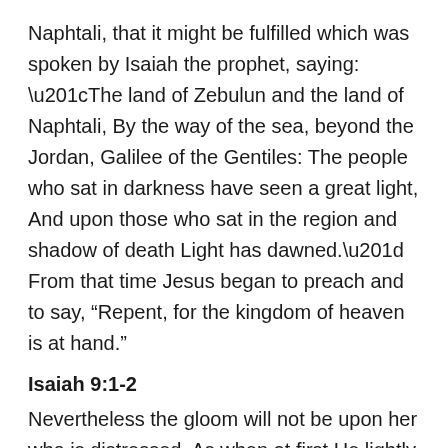Naphtali, that it might be fulfilled which was spoken by Isaiah the prophet, saying: “The land of Zebulun and the land of Naphtali, By the way of the sea, beyond the Jordan, Galilee of the Gentiles: The people who sat in darkness have seen a great light, And upon those who sat in the region and shadow of death Light has dawned.” From that time Jesus began to preach and to say, “Repent, for the kingdom of heaven is at hand.”
Isaiah 9:1-2
Nevertheless the gloom will not be upon her who is distressed, As when at first He lightly esteemed The land of Zebulun and the land of Naphtali, And